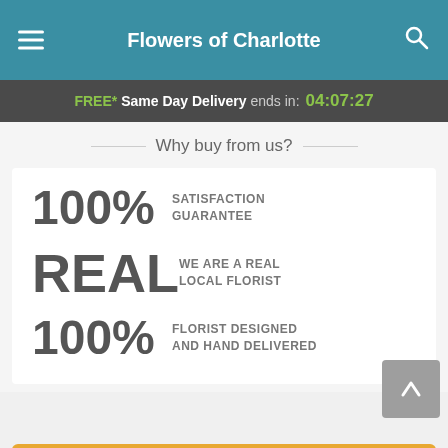Flowers of Charlotte
FREE* Same Day Delivery ends in: 04:07:27
Why buy from us?
100% SATISFACTION GUARANTEE
REAL WE ARE A REAL LOCAL FLORIST
100% FLORIST DESIGNED AND HAND DELIVERED
Start Order